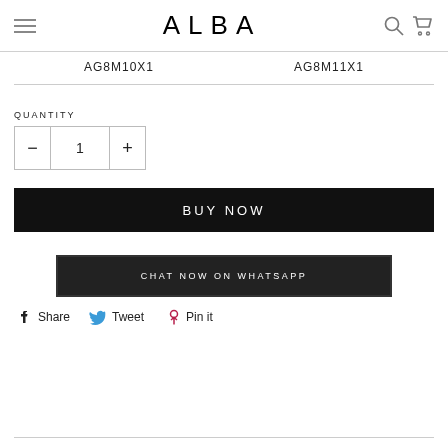ALBA
AG8M10X1   AG8M11X1
QUANTITY
1
BUY NOW
CHAT NOW ON WHATSAPP
Share   Tweet   Pin it